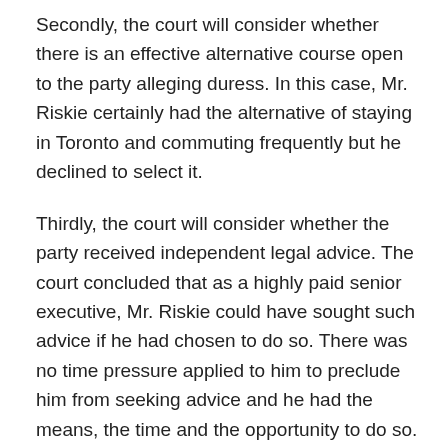Secondly, the court will consider whether there is an effective alternative course open to the party alleging duress. In this case, Mr. Riskie certainly had the alternative of staying in Toronto and commuting frequently but he declined to select it.
Thirdly, the court will consider whether the party received independent legal advice. The court concluded that as a highly paid senior executive, Mr. Riskie could have sought such advice if he had chosen to do so. There was no time pressure applied to him to preclude him from seeking advice and he had the means, the time and the opportunity to do so.
Fourthly, the court will consider whether, after entering into the contract, the party took any steps to get out of it. In this case, no such steps were taken and there was no